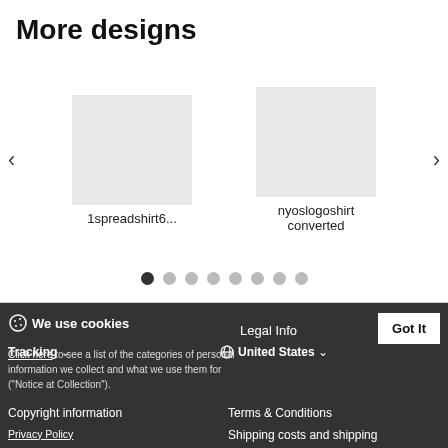More designs
[Figure (screenshot): Carousel of design thumbnails: '1spreadshirt6...' and 'nyoslogoshirt converted', with left/right navigation arrows and pagination dots]
1spreadshirt6...
nyoslogoshirt converted
We use cookies
Legal Info
Got It
Tracking
United States
Click here to see a list of the categories of personal information we collect and what we use them for ("Notice at Collection").
Copyright information
Terms & Conditions
Privacy Policy
Do Not Sell My Personal Information
Shipping costs and shipping times
By using this website, I agree to the Terms and Conditions.